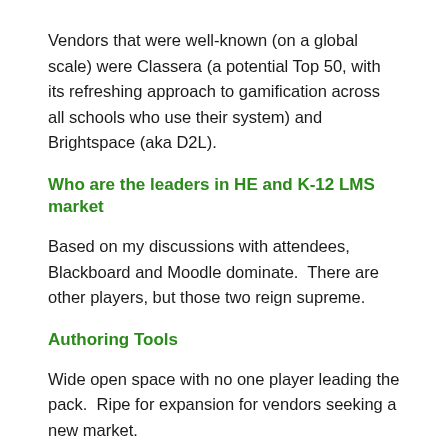Vendors that were well-known (on a global scale) were Classera (a potential Top 50, with its refreshing approach to gamification across all schools who use their system) and Brightspace (aka D2L).
Who are the leaders in HE and K-12 LMS market
Based on my discussions with attendees, Blackboard and Moodle dominate.  There are other players, but those two reign supreme.
Authoring Tools
Wide open space with no one player leading the pack.  Ripe for expansion for vendors seeking a new market.